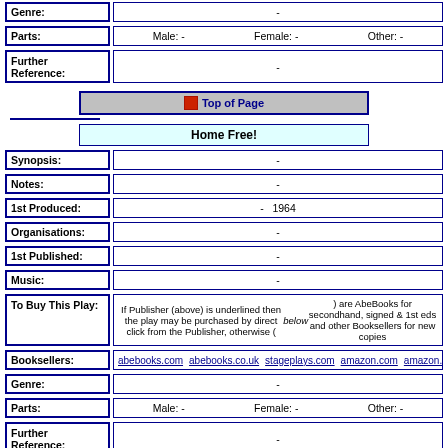| Label | Value |
| --- | --- |
| Genre: | - |
| Parts: | Male: -   Female: -   Other: - |
| Further Reference: | - |
Top of Page
Home Free!
| Label | Value |
| --- | --- |
| Synopsis: | - |
| Notes: | - |
| 1st Produced: | -   1964 |
| Organisations: | - |
| 1st Published: | - |
| Music: | - |
| To Buy This Play: | If Publisher (above) is underlined then the play may be purchased by direct click from the Publisher, otherwise (below) are AbeBooks for secondhand, signed & 1st eds and other Booksellers for new copies |
| Booksellers: | abebooks.com  abebooks.co.uk  stageplays.com  amazon.com  amazon.co.uk  am... |
| Genre: | - |
| Parts: | Male: -   Female: -   Other: - |
| Further Reference: | - |